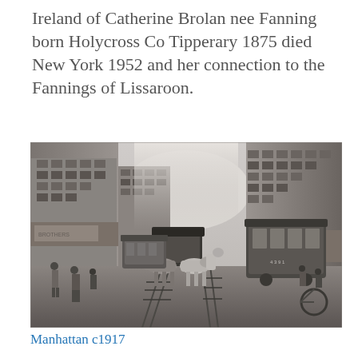Ireland of Catherine Brolan nee Fanning born Holycross Co Tipperary 1875 died New York 1952 and her connection to the Fannings of Lissaroon.
[Figure (photo): Black and white historical photograph of a busy Manhattan street circa 1917, showing horse-drawn carriages on trolley tracks, electric streetcars, multi-storey commercial buildings on both sides, and pedestrians on the sidewalks.]
Manhattan c1917